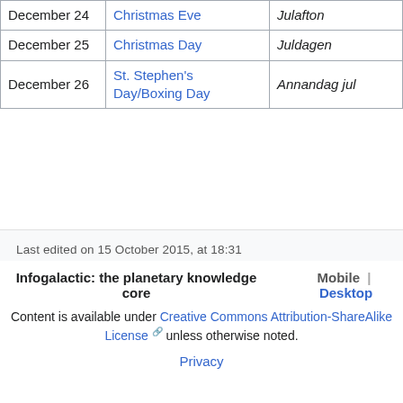| Date | English Name | Swedish Name |
| --- | --- | --- |
| December 24 | Christmas Eve | Julafton |
| December 25 | Christmas Day | Juldagen |
| December 26 | St. Stephen's Day/Boxing Day | Annandag jul |
Last edited on 15 October 2015, at 18:31
Infogalactic: the planetary knowledge core   Mobile | Desktop
Content is available under Creative Commons Attribution-ShareAlike License unless otherwise noted.
Privacy